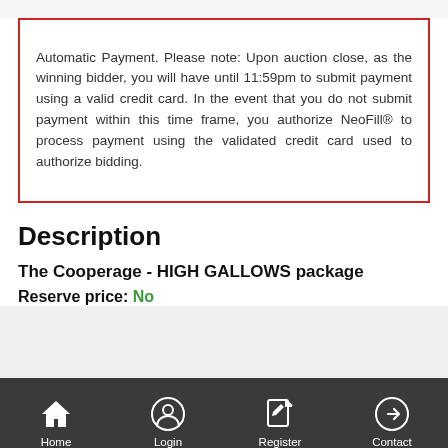Automatic Payment. Please note: Upon auction close, as the winning bidder, you will have until 11:59pm to submit payment using a valid credit card. In the event that you do not submit payment within this time frame, you authorize NeoFill® to process payment using the validated credit card used to authorize bidding.
Description
The Cooperage - HIGH GALLOWS package
Reserve price: No
Home  Login  Register  Contact